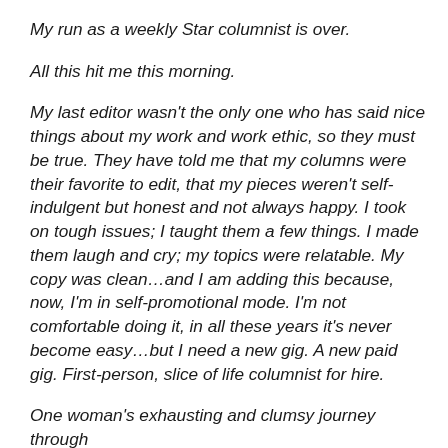My run as a weekly Star columnist is over.
All this hit me this morning.
My last editor wasn't the only one who has said nice things about my work and work ethic, so they must be true. They have told me that my columns were their favorite to edit, that my pieces weren't self-indulgent but honest and not always happy. I took on tough issues; I taught them a few things. I made them laugh and cry; my topics were relatable. My copy was clean…and I am adding this because, now, I'm in self-promotional mode. I'm not comfortable doing it, in all these years it's never become easy…but I need a new gig. A new paid gig. First-person, slice of life columnist for hire.
One woman's exhausting and clumsy journey through